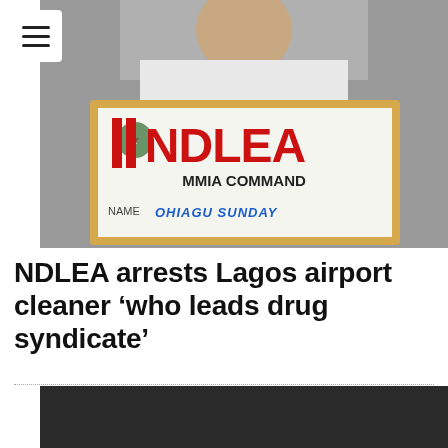[Figure (photo): A person holding an NDLEA MMIA Command sign board with name OHIAGU SUNDAY written on it. The sign has large red NDLEA text and a Nigerian coat of arms emblem.]
NDLEA arrests Lagos airport cleaner 'who leads drug syndicate'
[Figure (photo): A mostly dark/black image, appears to be a video or photo with very low exposure.]